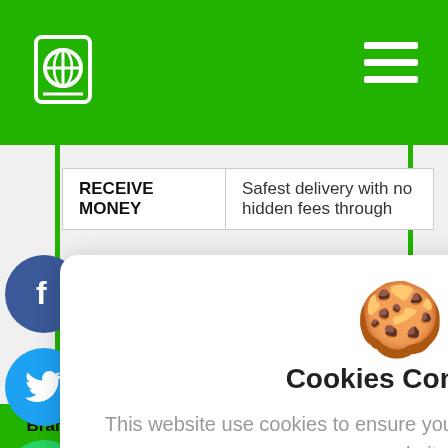[Figure (screenshot): Green navigation bar with globe/phone logo icon on left and hamburger menu icon on right, against a green background]
[Figure (screenshot): Facebook, Twitter, WhatsApp social share buttons and a close (X) button on the left side of the page]
[Figure (screenshot): Cookie consent modal dialog with cookie emoji, title, description text, 'I understand' button and 'Privacy Policy' link]
RECEIVE MONEY
Safest delivery with no hidden fees through
Cookies Consent
This website use cookies to ensure you get the best experience on our website.
I understand
Privacy Policy
in
Branch Branch Location on Google Map